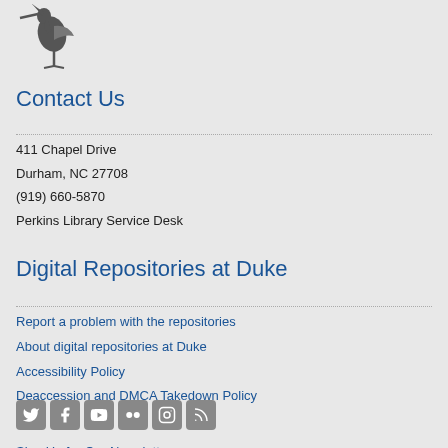[Figure (logo): Duke University Libraries logo - a heron/bird figure in gray]
Contact Us
411 Chapel Drive
Durham, NC 27708
(919) 660-5870
Perkins Library Service Desk
Digital Repositories at Duke
Report a problem with the repositories
About digital repositories at Duke
Accessibility Policy
Deaccession and DMCA Takedown Policy
[Figure (other): Social media icons: Twitter, Facebook, YouTube, Flickr, Instagram, RSS]
Sign Up for Our Newsletter